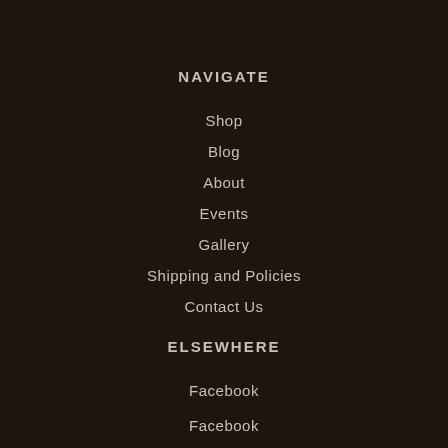NAVIGATE
Shop
Blog
About
Events
Gallery
Shipping and Policies
Contact Us
ELSEWHERE
Facebook
Facebook